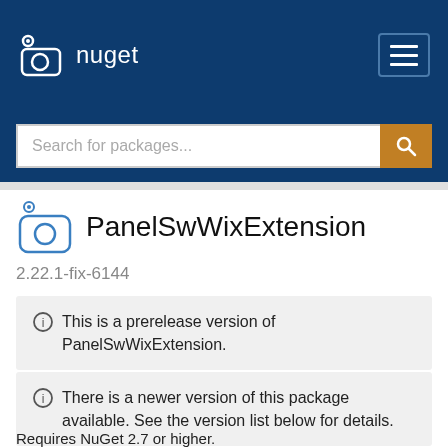nuget
[Figure (screenshot): NuGet search bar with orange search button]
PanelSwWixExtension
2.22.1-fix-6144
This is a prerelease version of PanelSwWixExtension.
There is a newer version of this package available. See the version list below for details.
Requires NuGet 2.7 or higher.